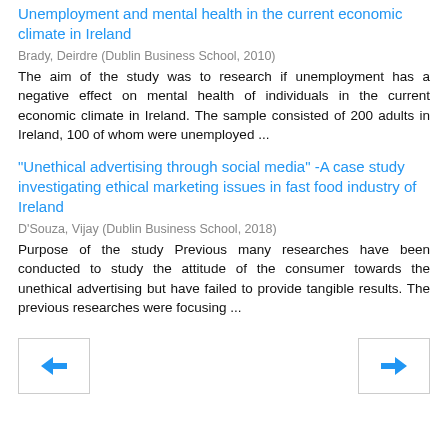Unemployment and mental health in the current economic climate in Ireland
Brady, Deirdre (Dublin Business School, 2010)
The aim of the study was to research if unemployment has a negative effect on mental health of individuals in the current economic climate in Ireland. The sample consisted of 200 adults in Ireland, 100 of whom were unemployed ...
"Unethical advertising through social media" -A case study investigating ethical marketing issues in fast food industry of Ireland
D'Souza, Vijay (Dublin Business School, 2018)
Purpose of the study Previous many researches have been conducted to study the attitude of the consumer towards the unethical advertising but have failed to provide tangible results. The previous researches were focusing ...